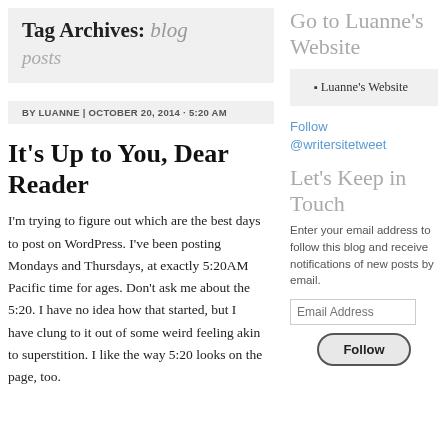Tag Archives: blog posts
BY LUANNE | OCTOBER 20, 2014 · 5:20 AM
It's Up to You, Dear Reader
I'm trying to figure out which are the best days to post on WordPress. I've been posting Mondays and Thursdays, at exactly 5:20AM Pacific time for ages. Don't ask me about the 5:20. I have no idea how that started, but I have clung to it out of some weird feeling akin to superstition. I like the way 5:20 looks on the page, too.
Go to Luanne's Website
Luanne's Website
Follow @writersitetweet
Let's Keep in Touch
Enter your email address to follow this blog and receive notifications of new posts by email.